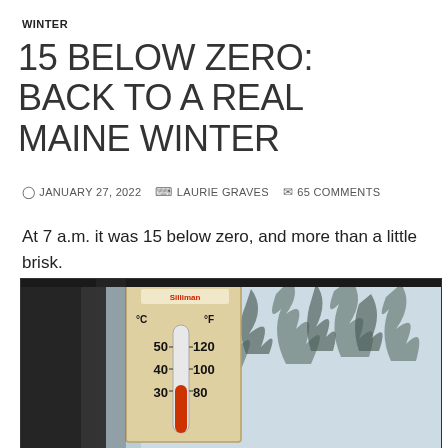WINTER
15 BELOW ZERO: BACK TO A REAL MAINE WINTER
JANUARY 27, 2022   LAURIE GRAVES   65 COMMENTS
At 7 a.m. it was 15 below zero, and more than a little brisk.
[Figure (photo): Outdoor thermometer mounted near a window showing very cold temperature, with snowy trees visible in background. Thermometer shows °C and °F scales with readings around -26°C / -15°F.]